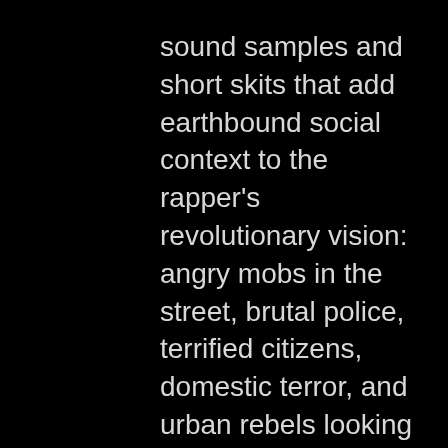sound samples and short skits that add earthbound social context to the rapper's revolutionary vision: angry mobs in the street, brutal police, terrified citizens, domestic terror, and urban rebels looking for targets.

At times, the recording slips into a kind of wish fulfillment that matches any of rap's tedious bling and bitch fantasies. But when Paris scores, he's a dangerous man. Check out "The Violence of the Lambs," a sampled sermon by liberation theologist Jeremiah Wright - once the pastor of Barack Obama's